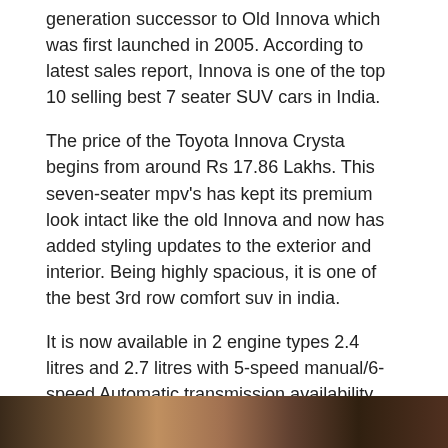generation successor to Old Innova which was first launched in 2005. According to latest sales report, Innova is one of the top 10 selling best 7 seater SUV cars in India.
The price of the Toyota Innova Crysta begins from around Rs 17.86 Lakhs. This seven-seater mpv's has kept its premium look intact like the old Innova and now has added styling updates to the exterior and interior. Being highly spacious, it is one of the best 3rd row comfort suv in india.
It is now available in 2 engine types 2.4 litres and 2.7 litres with 5-speed manual/6-speed Automatic transmission availability. These engines output 148 bhp/173 bhp power respectively.
Talking about safety features, the new Innova comes with 3 airbags, ABS with EBD. Toyota Innova Crysta is like the classic Innova is endowed with a boot space of 300 litres as well.
5 Datsun GO Plus
[Figure (photo): Bottom strip showing a partial photo of people inside a car, dark tones]